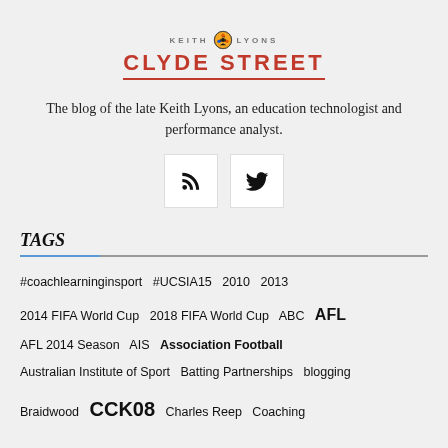[Figure (logo): Keith Lyons Clyde Street blog logo with soccer ball icon]
The blog of the late Keith Lyons, an education technologist and performance analyst.
[Figure (infographic): RSS feed icon and Twitter bird icon social media buttons]
TAGS
#coachlearninginsport #UCSIA15 2010 2013 2014 FIFA World Cup 2018 FIFA World Cup ABC AFL AFL 2014 Season AIS Association Football Australian Institute of Sport Batting Partnerships blogging Braidwood CCK08 Charles Reep Coaching